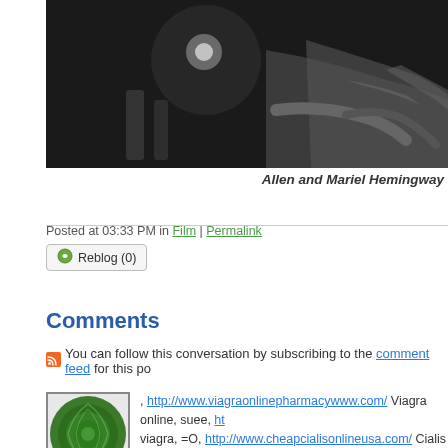[Figure (photo): Black and white photograph showing hands, possibly Allen and Mariel Hemingway]
Allen and Mariel Hemingway
Posted at 03:33 PM in Film | Permalink
Reblog (0)
Comments
You can follow this conversation by subscribing to the comment feed for this po
, http://www.viagraonlinepharmacywww.com/ Viagra online, suee, ht viagra, =O, http://www.cheapcialisonlineusa.com/ Cialis sale, kqn, ht http://www.cialisgenericusa.com/ Cialis, :-((( http://www.cialisonline overnight, 672206, http://www.genericviagrawww.com/ Generic via http://www.canadianpharmacyviagrawww.com/ Viagra price, ithro